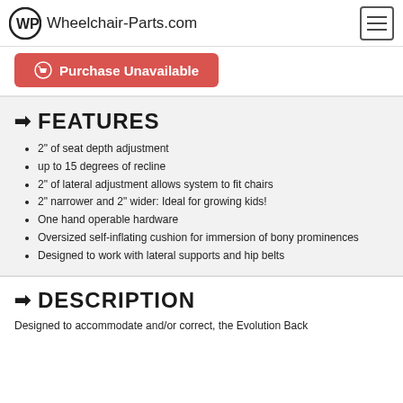Wheelchair-Parts.com
Purchase Unavailable
FEATURES
2" of seat depth adjustment
up to 15 degrees of recline
2" of lateral adjustment allows system to fit chairs
2" narrower and 2" wider: Ideal for growing kids!
One hand operable hardware
Oversized self-inflating cushion for immersion of bony prominences
Designed to work with lateral supports and hip belts
DESCRIPTION
Designed to accommodate and/or correct, the Evolution Back